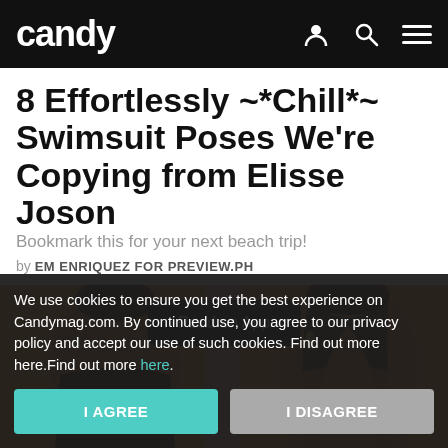candy
8 Effortlessly ~*Chill*~ Swimsuit Poses We're Copying from Elisse Joson
Bookmark this for your next beach trip!
by EM ENRIQUEZ FOR PREVIEW.PH
[Figure (photo): Two photos of Elisse Joson in orange outfits against an orange background, with a 'Read on App' button overlay]
We use cookies to ensure you get the best experience on Candymag.com. By continued use, you agree to our privacy policy and accept our use of such cookies. Find out more here.Find out more here.